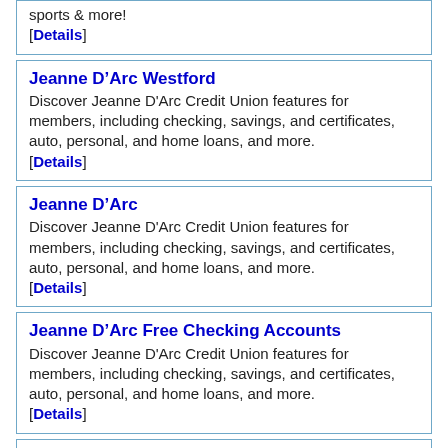sports & more!
[Details]
Jeanne D'Arc Westford
Discover Jeanne D'Arc Credit Union features for members, including checking, savings, and certificates, auto, personal, and home loans, and more.
[Details]
Jeanne D'Arc
Discover Jeanne D'Arc Credit Union features for members, including checking, savings, and certificates, auto, personal, and home loans, and more.
[Details]
Jeanne D'Arc Free Checking Accounts
Discover Jeanne D'Arc Credit Union features for members, including checking, savings, and certificates, auto, personal, and home loans, and more.
[Details]
Jeanne D'Arc Auto Loans
Discover Jeanne D'Arc Credit Union features for